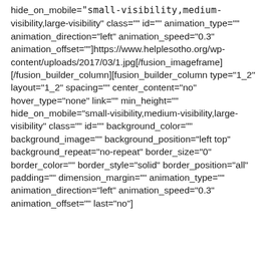hide_on_mobile="small-visibility,medium-visibility,large-visibility" class="" id="" animation_type="" animation_direction="left" animation_speed="0.3" animation_offset=""]https://www.helplesotho.org/wp-content/uploads/2017/03/1.jpg[/fusion_imageframe][/fusion_builder_column][fusion_builder_column type="1_2" layout="1_2" spacing="" center_content="no" hover_type="none" link="" min_height="" hide_on_mobile="small-visibility,medium-visibility,large-visibility" class="" id="" background_color="" background_image="" background_position="left top" background_repeat="no-repeat" border_size="0" border_color="" border_style="solid" border_position="all" padding="" dimension_margin="" animation_type="" animation_direction="left" animation_speed="0.3" animation_offset="" last="no"]